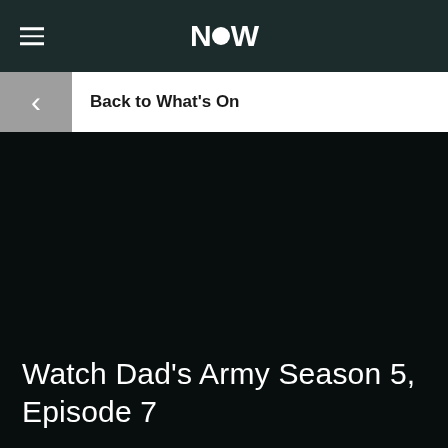NOW
Back to What's On
Watch Dad's Army Season 5, Episode 7